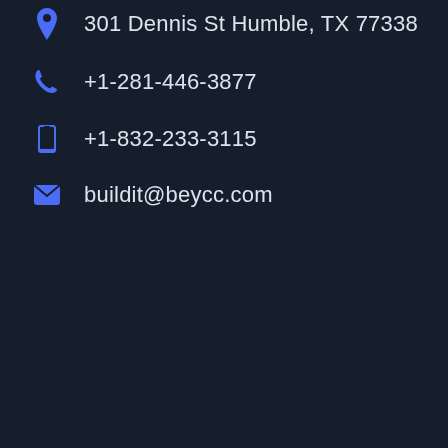301 Dennis St Humble, TX 77338
+1-281-446-3877
+1-832-233-3115
buildit@beycc.com